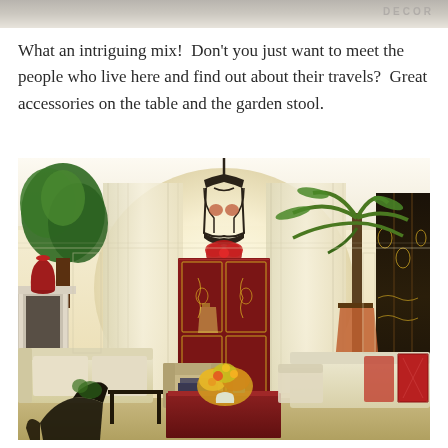[Figure (photo): Partial top strip of a previous interior room photo, cropped at top of page, with faint watermark/logo text at upper right.]
What an intriguing mix!  Don't you just want to meet the people who live here and find out about their travels?  Great accessories on the table and the garden stool.
[Figure (photo): Interior living room photo showing an elegantly decorated room with cream walls, sheer cream curtains, a black wrought-iron lantern pendant, a red lacquered chinoiserie cabinet in the center background, tall palm tree on the right, lush green trees on the left, cream sofas, a red coffee table with floral arrangement, decorative pillows, a black chair in the foreground, a red vase on the fireplace mantel at left, and a black lacquered Asian folding screen on the far right.]